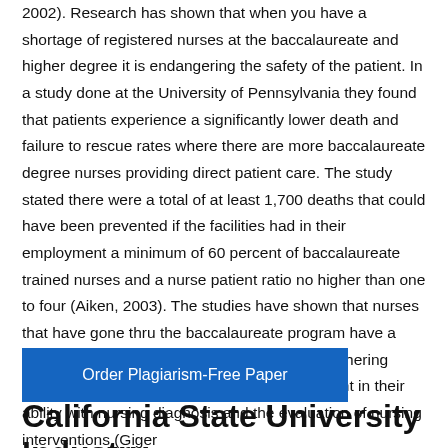2002). Research has shown that when you have a shortage of registered nurses at the baccalaureate and higher degree it is endangering the safety of the patient. In a study done at the University of Pennsylvania they found that patients experience a significantly lower death and failure to rescue rates where there are more baccalaureate degree nurses providing direct patient care. The study stated there were a total of at least 1,700 deaths that could have been prevented if the facilities had in their employment a minimum of 60 percent of baccalaureate trained nurses and a nurse patient ratio no higher than one to four (Aiken, 2003). The studies have shown that nurses that have gone thru the baccalaureate program have a higher degree in articulation and problem deciphering abilities (Johnson, 1988) and are more proficient in their ability with nursing diagnosis and the evaluation of nursing interventions (Giger
[Figure (other): Blue button labeled 'Order Plagiarism-Free Paper']
California State University Industry